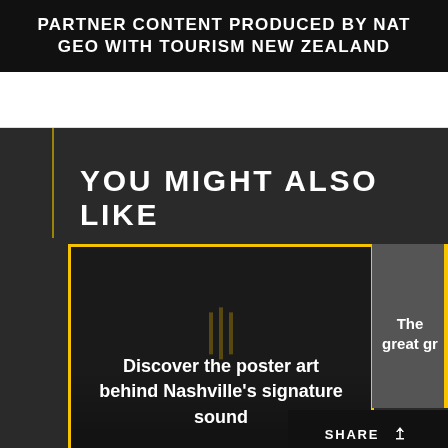PARTNER CONTENT PRODUCED BY NAT GEO WITH TOURISM NEW ZEALAND
YOU MIGHT ALSO LIKE
Discover the poster art behind Nashville's signature sound
The great gr